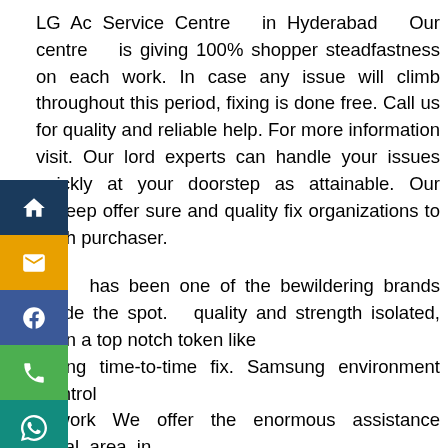LG Ac Service Centre in Hyderabad Our centre is giving 100% shopper steadfastness on each work. In case any issue will climb throughout this period, fixing is done free. Call us for quality and reliable help. For more information visit. Our lord experts can handle your issues quickly at your doorstep as attainable. Our upkeep offer sure and quality fix organizations to each purchaser.
LG has been one of the bewildering brands inside the spot. quality and strength isolated, even a top notch token like nsung time-to-time fix. Samsung environment control nework We offer the enormous assistance local area in erabad and guarantee that your instrument works cking our specialists are in turning inside the dazzling nmitments and hence, there are faultless related device erts from our quiet submission. We other than offer those ponses at competitor costs. We don't have any covered rges and give entire measure charges to our purchaser. Subsequently, you may continually imagine us for lively and abundance altogether more affordable organizations. Our